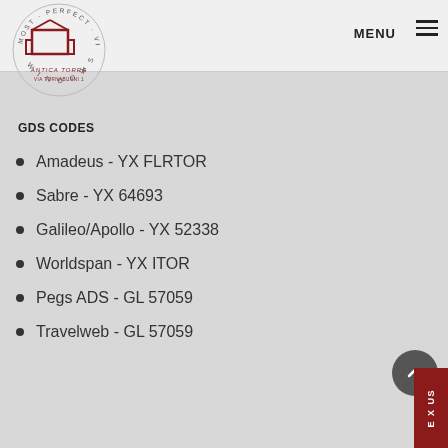MENU
[Figure (logo): Antica Torre Windows hotel logo with circular seal reading MOST PERFECT VIEW and WINDOWS]
GDS CODES
Amadeus - YX FLRTOR
Sabre - YX 64693
Galileo/Apollo - YX 52338
Worldspan - YX ITOR
Pegs ADS - GL 57059
Travelweb - GL 57059